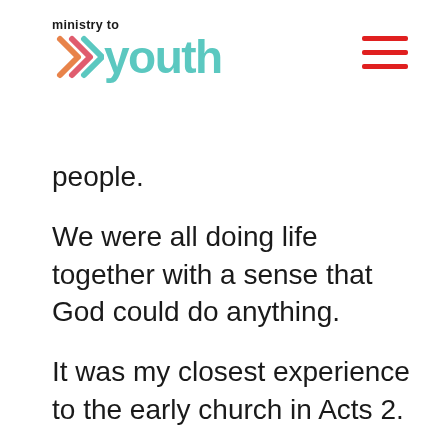[Figure (logo): Ministry to Youth logo with teal double chevron arrows and teal 'youth' text, black 'ministry to' text above]
people.
We were all doing life together with a sense that God could do anything.
It was my closest experience to the early church in Acts 2.
But somewhere along the way, my passion dwindled. The church underwent a lot of change. Life got in